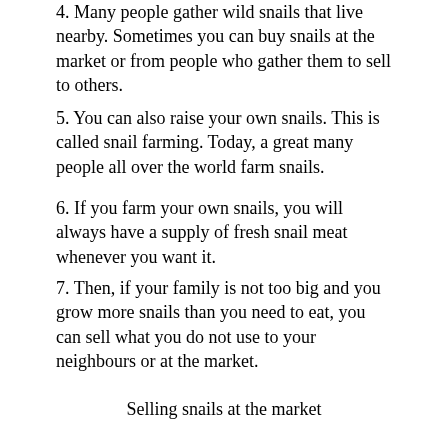4. Many people gather wild snails that live nearby. Sometimes you can buy snails at the market or from people who gather them to sell to others.
5. You can also raise your own snails. This is called snail farming. Today, a great many people all over the world farm snails.
6. If you farm your own snails, you will always have a supply of fresh snail meat whenever you want it.
7. Then, if your family is not too big and you grow more snails than you need to eat, you can sell what you do not use to your neighbours or at the market.
Selling snails at the market
8. With more food to eat and the money you get by selling snails, you and your family can live better.
9. However, if your family is big you will need to grow many more snails if you are going to have